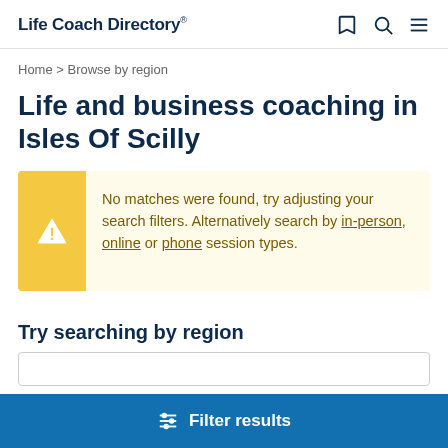Life Coach Directory
Home > Browse by region
Life and business coaching in Isles Of Scilly
No matches were found, try adjusting your search filters. Alternatively search by in-person, online or phone session types.
Try searching by region
Filter results